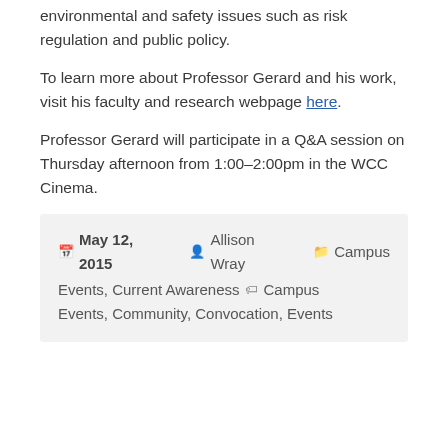environmental and safety issues such as risk regulation and public policy.
To learn more about Professor Gerard and his work, visit his faculty and research webpage here.
Professor Gerard will participate in a Q&A session on Thursday afternoon from 1:00-2:00pm in the WCC Cinema.
May 12, 2015   Allison Wray   Campus Events, Current Awareness   Campus Events, Community, Convocation, Events